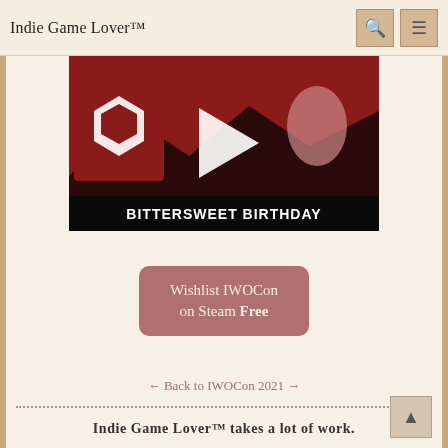Indie Game Lover™
[Figure (screenshot): Video thumbnail for 'Bittersweet Birthday' game with anime art, a play button in the center, IWOCon logo on the left, and 'BITTERSWEET BIRTHDAY' text at the bottom on a dark red background.]
Wishlist IWOCon on Steam Free
← Back to IWOCon 2021 →
Indie Game Lover™ takes a lot of work. If you like what I do and want to keep seeing my content, please consider visiting Patreon;